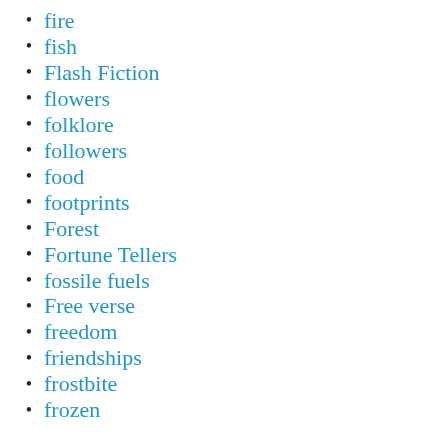fire
fish
Flash Fiction
flowers
folklore
followers
food
footprints
Forest
Fortune Tellers
fossile fuels
Free verse
freedom
friendships
frostbite
frozen